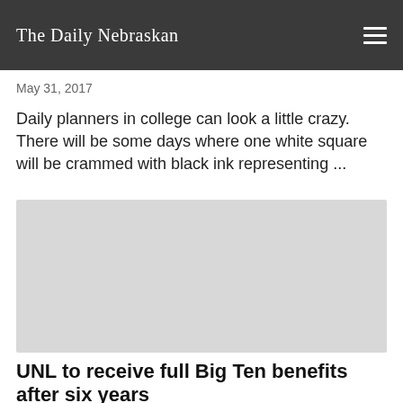The Daily Nebraskan
May 31, 2017
Daily planners in college can look a little crazy. There will be some days where one white square will be crammed with black ink representing ...
[Figure (photo): Gray placeholder image for an article photo]
UNL to receive full Big Ten benefits after six years